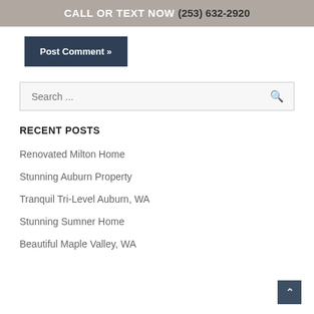CALL OR TEXT NOW (253) 632-2920
Post Comment »
Search ...
RECENT POSTS
Renovated Milton Home
Stunning Auburn Property
Tranquil Tri-Level Auburn, WA
Stunning Sumner Home
Beautiful Maple Valley, WA